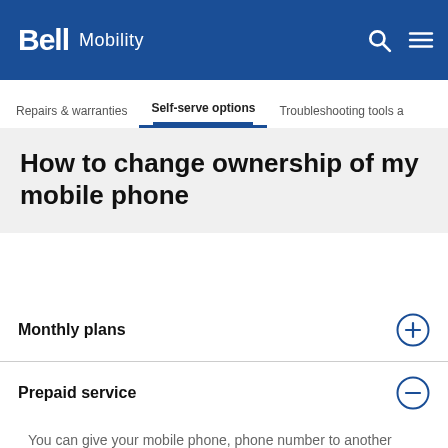Bell Mobility
Repairs & warranties | Self-serve options | Troubleshooting tools a
How to change ownership of my mobile phone
Monthly plans
Prepaid service
You can give your mobile phone, phone number to another person who will continue using the service.